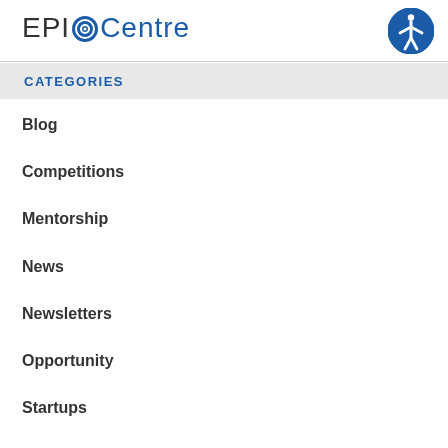EPICentre
CATEGORIES
Blog
Competitions
Mentorship
News
Newsletters
Opportunity
Startups
Uncategorized